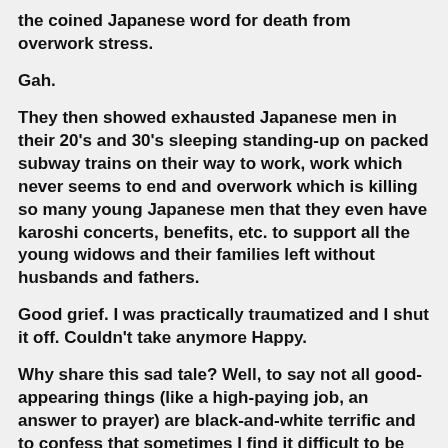the coined Japanese word for death from overwork stress.
Gah.
They then showed exhausted Japanese men in their 20's and 30's sleeping standing-up on packed subway trains on their way to work, work which never seems to end and overwork which is killing so many young Japanese men that they even have karoshi concerts, benefits, etc. to support all the young widows and their families left without husbands and fathers.
Good grief. I was practically traumatized and I shut it off. Couldn't take anymore Happy.
Why share this sad tale? Well, to say not all good-appearing things (like a high-paying job, an answer to prayer) are black-and-white terrific and to confess that sometimes I find it difficult to be thankful for Tom's job.
Hey, we're talking about a 55-year-old man who had